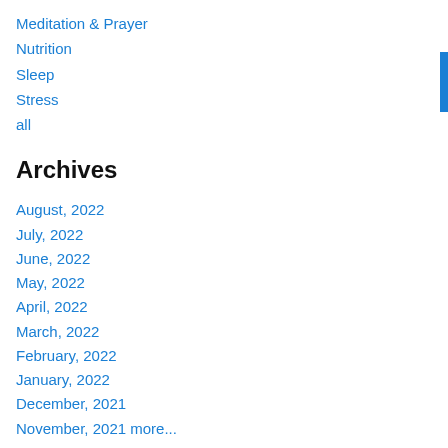Meditation & Prayer
Nutrition
Sleep
Stress
all
Archives
August, 2022
July, 2022
June, 2022
May, 2022
April, 2022
March, 2022
February, 2022
January, 2022
December, 2021
November, 2021 more...